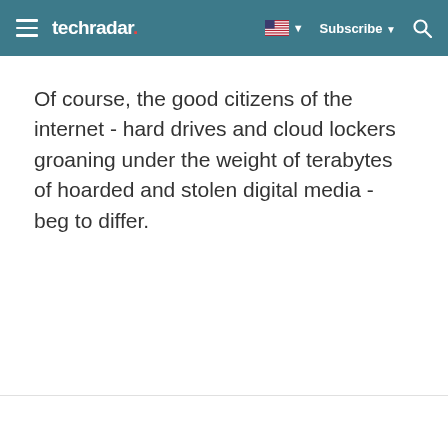techradar | Subscribe
Of course, the good citizens of the internet - hard drives and cloud lockers groaning under the weight of terabytes of hoarded and stolen digital media - beg to differ.